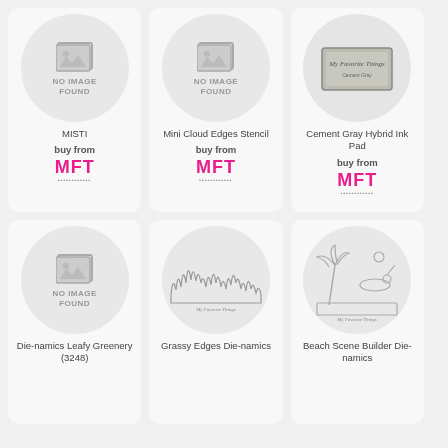[Figure (illustration): Product card: MISTI - No Image Found placeholder with buy from MFT link]
[Figure (illustration): Product card: Mini Cloud Edges Stencil - No Image Found placeholder with buy from MFT link]
[Figure (illustration): Product card: Cement Gray Hybrid Ink Pad - product image showing ink pad with buy from MFT link]
[Figure (illustration): Product card: Die-namics Leafy Greenery (3248) - No Image Found placeholder]
[Figure (illustration): Product card: Grassy Edges Die-namics - product image showing grass edge die]
[Figure (illustration): Product card: Beach Scene Builder Die-namics - product image showing beach scene die]